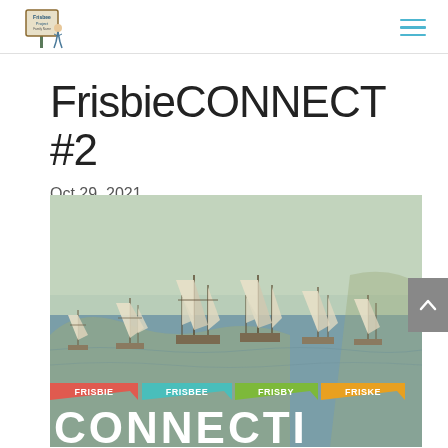FrisbieCONNECT logo and navigation
FrisbieCONNECT #2
Oct 29, 2021
[Figure (illustration): Historical illustration of tall ships on a river/harbor with land visible, overlaid with colored speech-bubble tags reading FRISBIE, FRISBEE, FRISBY, FRISKE, and large white text CONNECTI at the bottom]